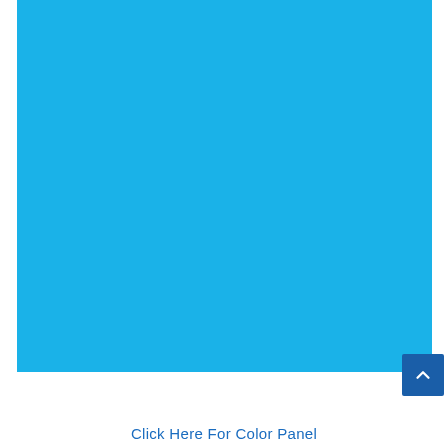[Figure (other): Large solid sky-blue rectangular panel filling most of the page area]
Click Here For Color Panel